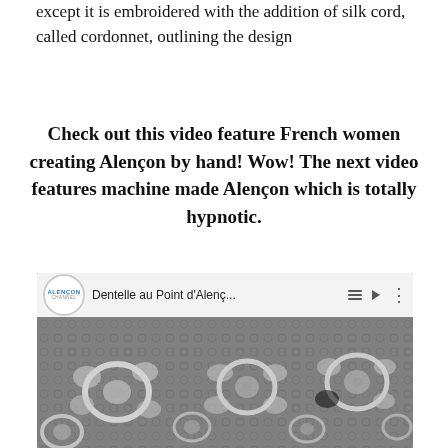except it is embroidered with the addition of silk cord, called cordonnet, outlining the design
Check out this video feature French women creating Alençon by hand! Wow! The next video features machine made Alençon which is totally hypnotic.
[Figure (screenshot): YouTube video thumbnail for 'Dentelle au Point d'Alençon...' showing close-up of Alençon lace with floral patterns on a mesh background, in grayscale/sepia tones. The video header shows the Alençon channel logo, video title, playlist and more-options icons.]